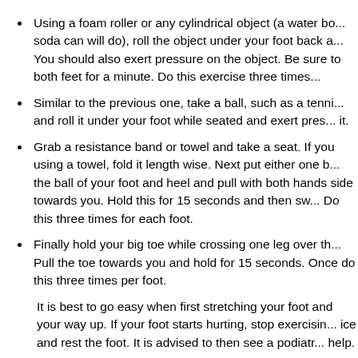Using a foam roller or any cylindrical object (a water bo... soda can will do), roll the object under your foot back a... You should also exert pressure on the object. Be sure to both feet for a minute. Do this exercise three times...
Similar to the previous one, take a ball, such as a tenni... and roll it under your foot while seated and exert pres... it.
Grab a resistance band or towel and take a seat. If you using a towel, fold it length wise. Next put either one b... the ball of your foot and heel and pull with both hands side towards you. Hold this for 15 seconds and then sw... Do this three times for each foot.
Finally hold your big toe while crossing one leg over th... Pull the toe towards you and hold for 15 seconds. Once do this three times per foot.
It is best to go easy when first stretching your foot and your way up. If your foot starts hurting, stop exercisin... ice and rest the foot. It is advised to then see a podiatr... help.